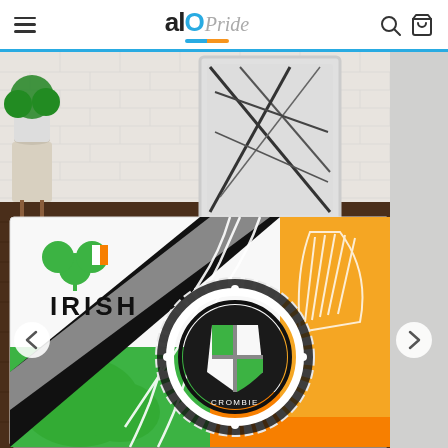AIO Pride — navigation header with hamburger menu, logo, search and cart icons
[Figure (photo): Product photo of an Irish-themed Celtic knot area rug with the Crombie family crest medallion, Irish shamrock/flag design, harp motif, and green/orange/white/black color scheme, displayed in a modern living room setting on a dark wood floor with white brick wall background. Left and right navigation arrows are visible.]